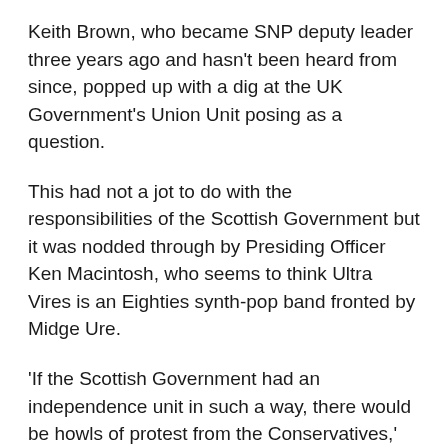Keith Brown, who became SNP deputy leader three years ago and hasn't been heard from since, popped up with a dig at the UK Government's Union Unit posing as a question.
This had not a jot to do with the responsibilities of the Scottish Government but it was nodded through by Presiding Officer Ken Macintosh, who seems to think Ultra Vires is an Eighties synth-pop band fronted by Midge Ure.
‘If the Scottish Government had an independence unit in such a way, there would be howls of protest from the Conservatives,’ Sturgeon harrumphed.
If the Scottish Government did anything other than